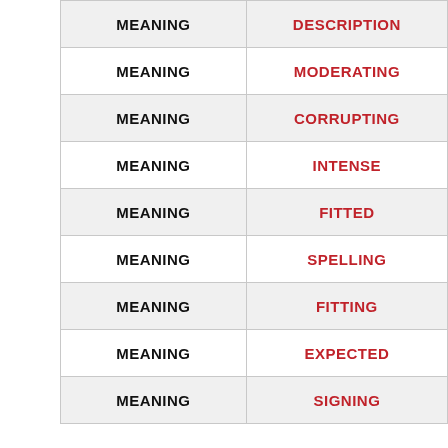| MEANING | DESCRIPTION |
| --- | --- |
| MEANING | DESCRIPTION |
| MEANING | MODERATING |
| MEANING | CORRUPTING |
| MEANING | INTENSE |
| MEANING | FITTED |
| MEANING | SPELLING |
| MEANING | FITTING |
| MEANING | EXPECTED |
| MEANING | SIGNING |